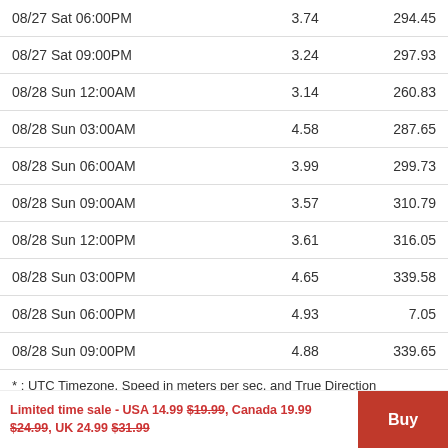| Date/Time | Speed | Direction |
| --- | --- | --- |
| 08/27 Sat 06:00PM | 3.74 | 294.45 |
| 08/27 Sat 09:00PM | 3.24 | 297.93 |
| 08/28 Sun 12:00AM | 3.14 | 260.83 |
| 08/28 Sun 03:00AM | 4.58 | 287.65 |
| 08/28 Sun 06:00AM | 3.99 | 299.73 |
| 08/28 Sun 09:00AM | 3.57 | 310.79 |
| 08/28 Sun 12:00PM | 3.61 | 316.05 |
| 08/28 Sun 03:00PM | 4.65 | 339.58 |
| 08/28 Sun 06:00PM | 4.93 | 7.05 |
| 08/28 Sun 09:00PM | 4.88 | 339.65 |
* : UTC Timezone, Speed in meters per sec, and True Direction
Other related Charts
Limited time sale - USA 14.99 $19.99, Canada 19.99 $24.99, UK 24.99 $31.99